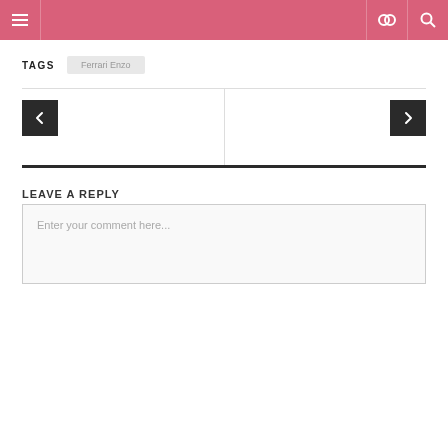Navigation header bar with menu, link, and search icons
TAGS   Ferrari Enzo
[Figure (other): Navigation pagination area with left arrow button and right arrow button separated by a vertical divider line, bounded by horizontal lines]
LEAVE A REPLY
Enter your comment here...